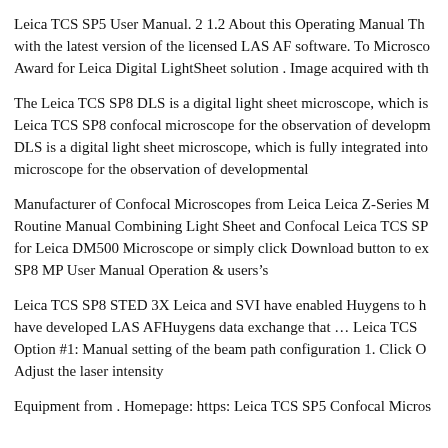Leica TCS SP5 User Manual. 2 1.2 About this Operating Manual Th with the latest version of the licensed LAS AF software. To Microsco Award for Leica Digital LightSheet solution . Image acquired with th
The Leica TCS SP8 DLS is a digital light sheet microscope, which is Leica TCS SP8 confocal microscope for the observation of developm DLS is a digital light sheet microscope, which is fully integrated into microscope for the observation of developmental
Manufacturer of Confocal Microscopes from Leica Leica Z-Series M Routine Manual Combining Light Sheet and Confocal Leica TCS SP for Leica DM500 Microscope or simply click Download button to ex SP8 MP User Manual Operation & users’ s
Leica TCS SP8 STED 3X Leica and SVI have enabled Huygens to h have developed LAS AFHuygens data exchange that … Leica TCS Option #1: Manual setting of the beam path configuration 1. Click O Adjust the laser intensity
Equipment from . Homepage: https: Leica TCS SP5 Confocal Micros